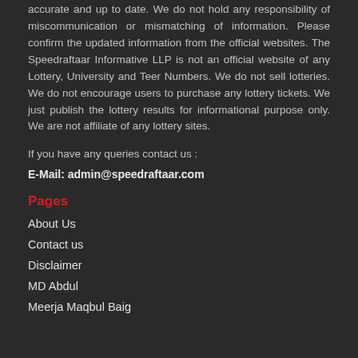accurate and up to date. We do not hold any responsibility of miscommunication or mismatching of information. Please confirm the updated information from the official websites. The Speedraftaar Informative LLP is not an official website of any Lottery, University and Teer Numbers. We do not sell lotteries. We do not encourage users to purchase any lottery tickets. We just publish the lottery results for informational purpose only. We are not affiliate of any lottery sites.
If you have any queries contact us :
E-Mail: admin@speedraftaar.com
Pages
About Us
Contact us
Disclaimer
MD Abdul
Meerja Maqbul Baig